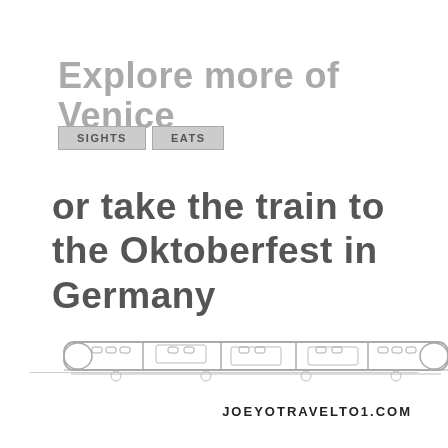Explore more of Venice
SIGHTS
EATS
or take the train to the Oktoberfest in Germany
[Figure (illustration): Line drawing of a train (high-speed rail / bullet train) in outline style, viewed from the side]
JoEYoTRAVELTo1.CoM